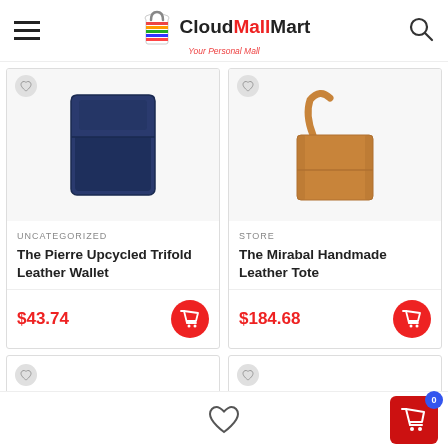CloudMallMart — Your Personal Mall
[Figure (photo): Navy blue trifold leather wallet on white background]
UNCATEGORIZED
The Pierre Upcycled Trifold Leather Wallet
$43.74
[Figure (photo): Tan/caramel handmade leather tote bag on white background]
STORE
The Mirabal Handmade Leather Tote
$184.68
Cart: 0 items